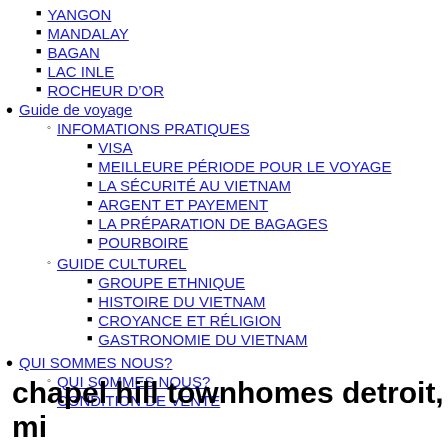YANGON
MANDALAY
BAGAN
LAC INLE
ROCHEUR D'OR
Guide de voyage
INFOMATIONS PRATIQUES
VISA
MEILLEURE PÉRIODE POUR LE VOYAGE
LA SÉCURITÉ AU VIETNAM
ARGENT ET PAYEMENT
LA PRÉPARATION DE BAGAGES
POURBOIRE
GUIDE CULTUREL
GROUPE ETHNIQUE
HISTOIRE DU VIETNAM
CROYANCE ET RÉLIGION
GASTRONOMIE DU VIETNAM
QUI SOMMES NOUS?
QUI SOMMES NOUS?
CONDITION DE VENTE
chapel hill townhomes detroit, mi